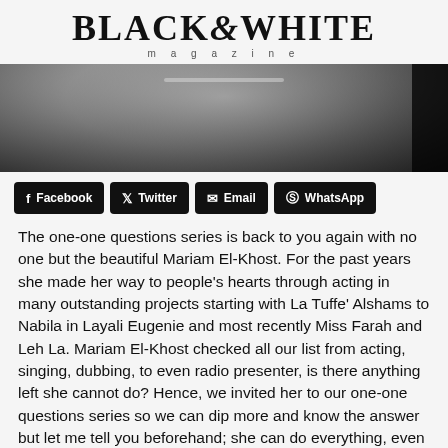BLACK&WHITE
magazine
[Figure (photo): Black and white close-up photo of a woman wearing a necklace, with hair falling forward, photographed from above]
Facebook  Twitter  Email  WhatsApp
The one-one questions series is back to you again with no one but the beautiful Mariam El-Khost. For the past years she made her way to people's hearts through acting in many outstanding projects starting with La Tuffe' Alshams to Nabila in Layali Eugenie and most recently Miss Farah and Leh La. Mariam El-Khost checked all our list from acting, singing, dubbing, to even radio presenter, is there anything left she cannot do? Hence, we invited her to our one-one questions series so we can dip more and know the answer but let me tell you beforehand; she can do everything, even cooking!